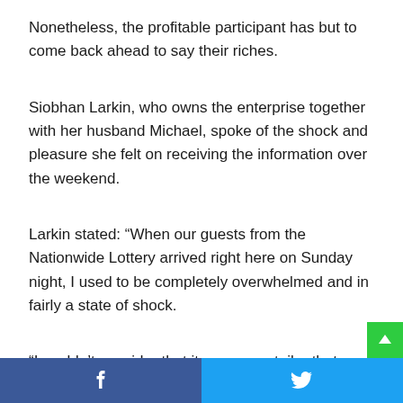Nonetheless, the profitable participant has but to come back ahead to say their riches.
Siobhan Larkin, who owns the enterprise together with her husband Michael, spoke of the shock and pleasure she felt on receiving the information over the weekend.
Larkin stated: “When our guests from the Nationwide Lottery arrived right here on Sunday night, I used to be completely overwhelmed and in fairly a state of shock.
“I couldn’t consider that it was our retailer that bought the profitable ticket value €30.9 million.
“We’re coming as much as 21 years in enterprise right here…
Facebook share | Twitter share